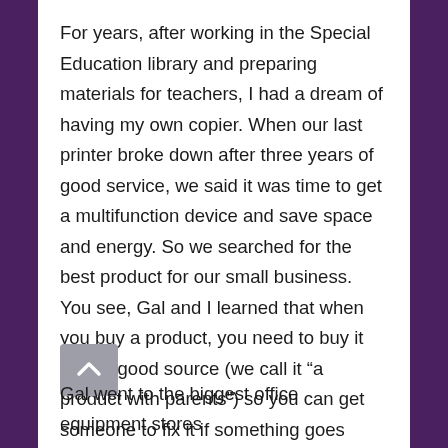For years, after working in the Special Education library and preparing materials for teachers, I had a dream of having my own copier. When our last printer broke down after three years of good service, we said it was time to get a multifunction device and save space and energy. So we searched for the best product for our small business. You see, Gal and I learned that when you buy a product, you need to buy it from a good source (we call it “a product with parents”) so you can get someone to fix it if something goes wrong.
Gal went to the biggest office equipment stores